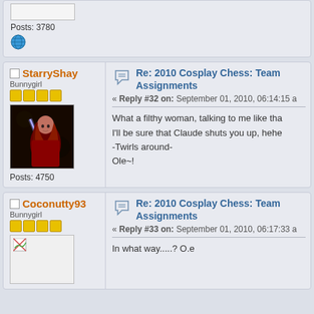Posts: 3780
[Figure (illustration): Green globe/world icon]
StarryShay - Bunnygirl - Posts: 4750 - Re: 2010 Cosplay Chess: Team Assignments - Reply #32 on: September 01, 2010, 06:14:15 - What a filthy woman, talking to me like tha... I'll be sure that Claude shuts you up, hehe... -Twirls around- Ole~!
Coconutty93 - Bunnygirl - Posts: (partial) - Re: 2010 Cosplay Chess: Team Assignments - Reply #33 on: September 01, 2010, 06:17:33 - In what way.....? O.e